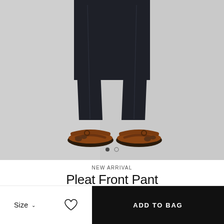[Figure (photo): Close-up photo of lower half of person wearing dark navy/black pleat front trousers and tan leather sandals, shot against a light grey background. Two image navigation dots visible near bottom center of photo.]
NEW ARRIVAL
Pleat Front Pant
Size ∨
ADD TO BAG